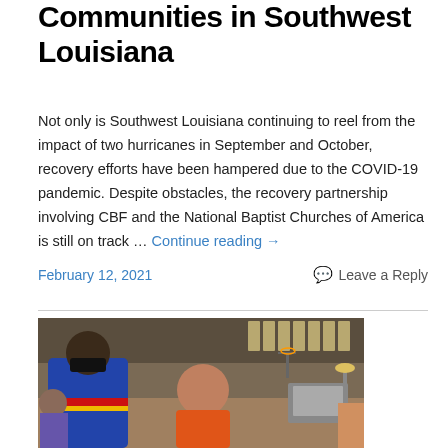Communities in Southwest Louisiana
Not only is Southwest Louisiana continuing to reel from the impact of two hurricanes in September and October, recovery efforts have been hampered due to the COVID-19 pandemic. Despite obstacles, the recovery partnership involving CBF and the National Baptist Churches of America is still on track … Continue reading →
February 12, 2021   Leave a Reply
[Figure (photo): People in a gymnasium or community center wearing masks; a woman in an orange shirt stands in the foreground, a person in a blue jacket with red/yellow accents stands behind her, the setting appears to be an indoor facility with basketball hoop visible in background.]